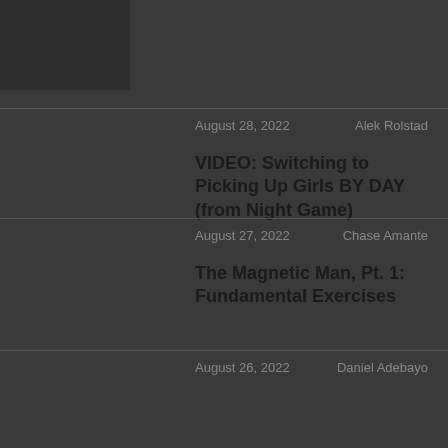[Figure (photo): Thumbnail image placeholder in top-left corner]
August 28, 2022    Alek Rolstad
VIDEO: Switching to Picking Up Girls BY DAY (from Night Game)
August 27, 2022    Chase Amante
The Magnetic Man, Pt. 1: Fundamental Exercises
August 26, 2022    Daniel Adebayo